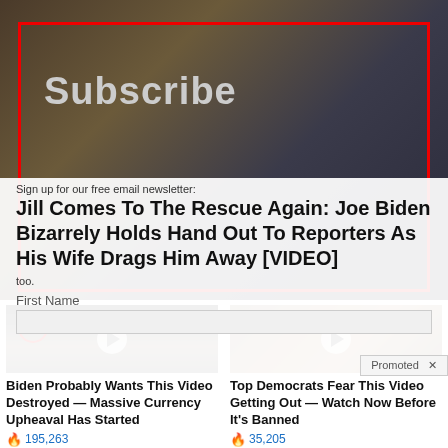[Figure (screenshot): Video thumbnail background showing people in dark setting]
Subscribe
Sign up for our free email newsletter:
Jill Comes To The Rescue Again: Joe Biden Bizarrely Holds Hand Out To Reporters As His Wife Drags Him Away [VIDEO]
too.
First Name
Promoted
[Figure (screenshot): Biden Probably Wants This Video Destroyed — Massive Currency Upheaval Has Started. Video thumbnail showing group of men in suits with red circle highlight on one figure.]
Biden Probably Wants This Video Destroyed — Massive Currency Upheaval Has Started
195,263
[Figure (screenshot): Top Democrats Fear This Video Getting Out — Watch Now Before It's Banned. Video thumbnail showing a smiling woman in dark jacket outdoors.]
Top Democrats Fear This Video Getting Out — Watch Now Before It's Banned
35,205